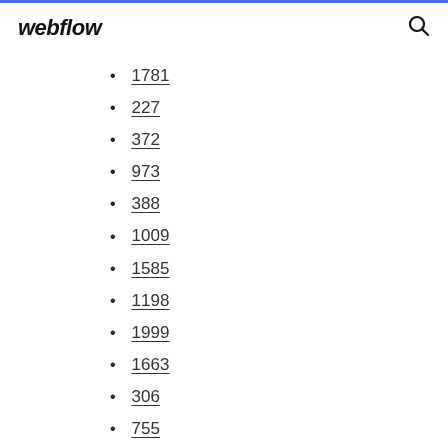webflow
1781
227
372
973
388
1009
1585
1198
1999
1663
306
755